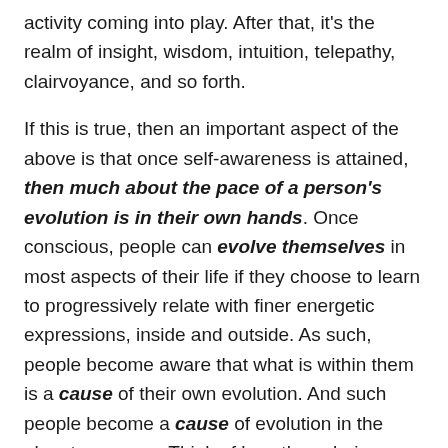activity coming into play. After that, it's the realm of insight, wisdom, intuition, telepathy, clairvoyance, and so forth.
If this is true, then an important aspect of the above is that once self-awareness is attained, then much about the pace of a person's evolution is in their own hands. Once conscious, people can evolve themselves in most aspects of their life if they choose to learn to progressively relate with finer energetic expressions, inside and outside. As such, people become aware that what is within them is a cause of their own evolution. And such people become a cause of evolution in the planetary sense. Think of how those beings who have taken insight to great heights have changed the world.
One classic example of this path of evolution is carried out by many in India where their life proceeds from childhood